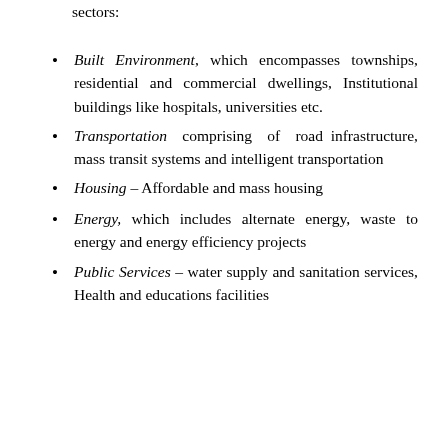sectors:
Built Environment, which encompasses townships, residential and commercial dwellings, Institutional buildings like hospitals, universities etc.
Transportation comprising of road infrastructure, mass transit systems and intelligent transportation
Housing – Affordable and mass housing
Energy, which includes alternate energy, waste to energy and energy efficiency projects
Public Services – water supply and sanitation services, Health and educations facilities